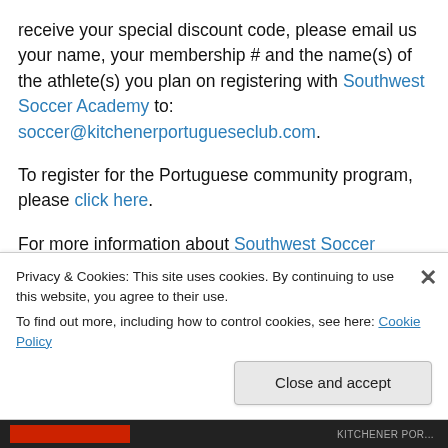receive your special discount code, please email us your name, your membership # and the name(s) of the athlete(s) you plan on registering with Southwest Soccer Academy to: soccer@kitchenerportugueseclub.com.
To register for the Portuguese community program, please click here.
For more information about Southwest Soccer Academy, including other programs, please click here.
Looking forward to seeing many of the future soccer stars
Privacy & Cookies: This site uses cookies. By continuing to use this website, you agree to their use.
To find out more, including how to control cookies, see here: Cookie Policy